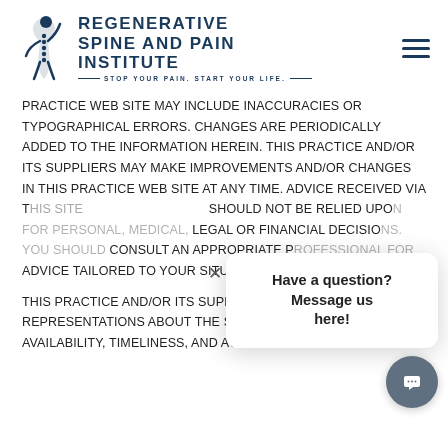Regenerative Spine and Pain Institute — Stop Your Pain. Start Your Life.
PRACTICE WEB SITE MAY INCLUDE INACCURACIES OR TYPOGRAPHICAL ERRORS. CHANGES ARE PERIODICALLY ADDED TO THE INFORMATION HEREIN. THIS PRACTICE AND/OR ITS SUPPLIERS MAY MAKE IMPROVEMENTS AND/OR CHANGES IN THIS PRACTICE WEB SITE AT ANY TIME. ADVICE RECEIVED VIA [THIS SITE] SHOULD NOT BE RELIED UPON FOR PERSONAL, MEDICAL, LEGAL OR FINANCIAL DECISIONS. YOU SHOULD CONSULT AN APPROPRIATE PROFESSIONAL FOR ADVICE TAILORED TO YOUR SITUATION.
THIS PRACTICE AND/OR ITS SUPPLIERS MAKE NO REPRESENTATIONS ABOUT THE SUITABILITY, RELIABILITY, AVAILABILITY, TIMELINESS, AND ACCURACY OF THE